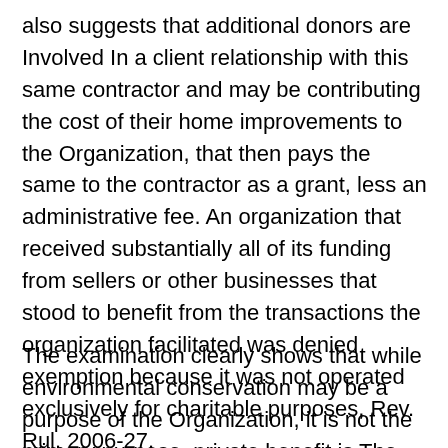also suggests that additional donors are Involved In a client relationship with this same contractor and may be contributing the cost of their home improvements to the Organization, that then pays the same to the contractor as a grant, less an administrative fee. An organization that received substantially all of its funding from sellers or other businesses that stood to benefit from the transactions the organization facilitated was denied exemption because it was not operated exclusively for charitable purposes, Rev. Rul. 2006-27.
The examination clearly shows that while environmental conservation may be a purpose of the Organization, it is not the primary purpose, private benefit is The donor/contractor benefits by increased business and his homeowner clients benefit from a reduction in their home